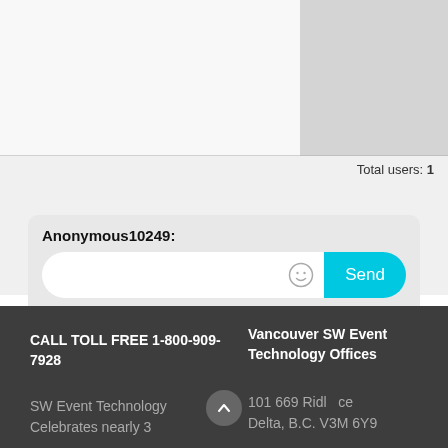[Figure (screenshot): Chat interface top portion showing a split panel: left side light gray, right side darker gray placeholder image area]
Total users: 1
Anonymous10249:
[Figure (screenshot): Chat input box with emoji button and cyan Send button, and Customize option below]
CALL TOLL FREE 1-800-909-7928
SW Event Technology Celebrates nearly 3
Vancouver SW Event Technology Offices
101 669 Ridl  ce Delta, B.C. V3M 6Y9